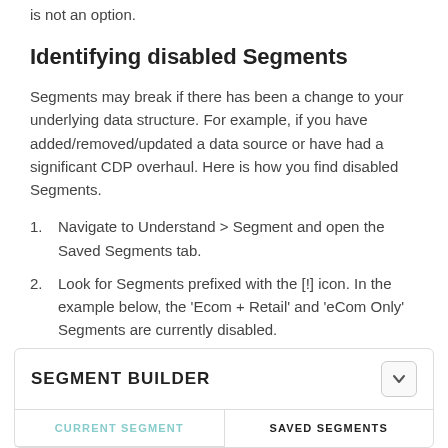is not an option.
Identifying disabled Segments
Segments may break if there has been a change to your underlying data structure. For example, if you have added/removed/updated a data source or have had a significant CDP overhaul. Here is how you find disabled Segments.
Navigate to Understand > Segment and open the Saved Segments tab.
Look for Segments prefixed with the [!] icon. In the example below, the 'Ecom + Retail' and 'eCom Only' Segments are currently disabled.
[Figure (screenshot): Segment Builder UI showing Current Segment and Saved Segments tabs with a collapsible header]